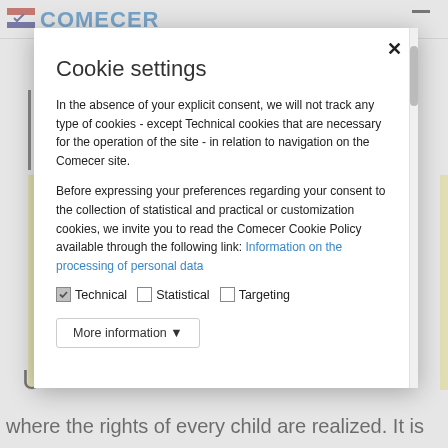[Figure (screenshot): Partial website header with Comecer logo (flag icon and blue COMECER text) partially visible behind modal overlay]
Cookie settings
In the absence of your explicit consent, we will not track any type of cookies - except Technical cookies that are necessary for the operation of the site - in relation to navigation on the Comecer site.
Before expressing your preferences regarding your consent to the collection of statistical and practical or customization cookies, we invite you to read the Comecer Cookie Policy available through the following link: Information on the processing of personal data
Technical  Statistical  Targeting
More information ▼
where the rights of every child are realized. It is